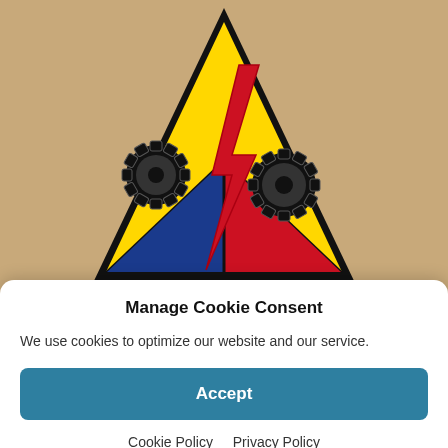[Figure (illustration): US Army Armored Forces triangular insignia patch: triangle with yellow top, blue lower-left, red lower-right, black outline; center shows a black tank track/wheel and a red lightning bolt crossing it]
Pvt. Clayton Marzell Miller was born on March 12, 1920, in Powell, Missouri, to Julius “Jack” Miller and Aminta
Manage Cookie Consent
We use cookies to optimize our website and our service.
Accept
Cookie Policy   Privacy Policy